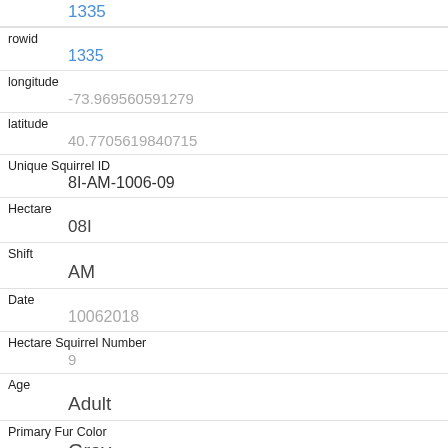| rowid | 1335 |
| longitude | -73.969560591279 |
| latitude | 40.7705619840715 |
| Unique Squirrel ID | 8I-AM-1006-09 |
| Hectare | 08I |
| Shift | AM |
| Date | 10062018 |
| Hectare Squirrel Number | 9 |
| Age | Adult |
| Primary Fur Color | Gray |